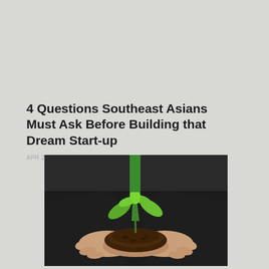4 Questions Southeast Asians Must Ask Before Building that Dream Start-up
APR 22, 2017
[Figure (photo): Person in a dark suit holding a small green seedling growing from dark soil in cupped hands, symbolizing growth and entrepreneurship.]